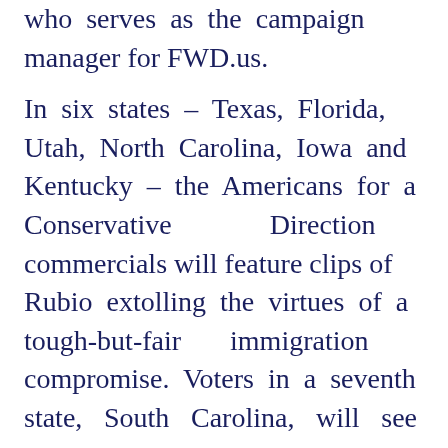who serves as the campaign manager for FWD.us.
In six states – Texas, Florida, Utah, North Carolina, Iowa and Kentucky – the Americans for a Conservative Direction commercials will feature clips of Rubio extolling the virtues of a tough-but-fair immigration compromise. Voters in a seventh state, South Carolina, will see 60-second ads praising the conservative credentials of Sen. Lindsey Graham, a top Republican advocate for immigration reform. View the ads here.